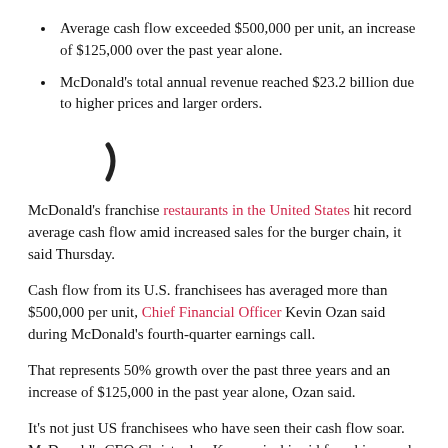Average cash flow exceeded $500,000 per unit, an increase of $125,000 over the past year alone.
McDonald's total annual revenue reached $23.2 billion due to higher prices and larger orders.
[Figure (other): Partial loading spinner icon (arc/parenthesis shape)]
McDonald's franchise restaurants in the United States hit record average cash flow amid increased sales for the burger chain, it said Thursday.
Cash flow from its U.S. franchisees has averaged more than $500,000 per unit, Chief Financial Officer Kevin Ozan said during McDonald's fourth-quarter earnings call.
That represents 50% growth over the past three years and an increase of $125,000 in the past year alone, Ozan said.
It's not just US franchisees who have seen their cash flow soar. McDonald's CEO Christopher Kempczinski said franchisee cash flow